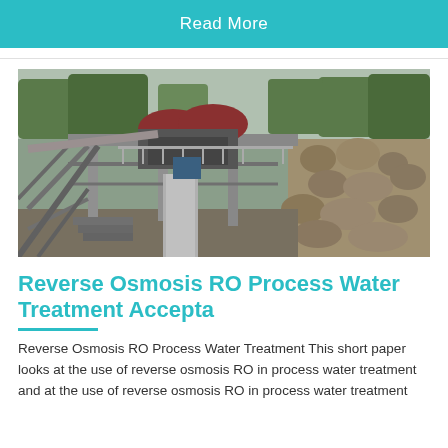Read More
[Figure (photo): Industrial machinery — reverse osmosis / water treatment equipment structure on a rocky hillside with metal framework, walkways, and large cylindrical components, surrounded by trees.]
Reverse Osmosis RO Process Water Treatment Accepta
Reverse Osmosis RO Process Water Treatment This short paper looks at the use of reverse osmosis RO in process water treatment and at the use of reverse osmosis RO in process water treatment